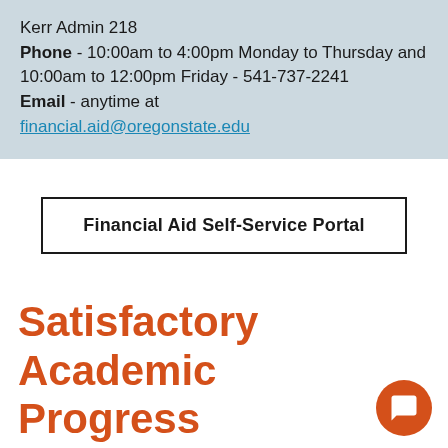Kerr Admin 218
Phone - 10:00am to 4:00pm Monday to Thursday and 10:00am to 12:00pm Friday - 541-737-2241
Email - anytime at financial.aid@oregonstate.edu
[Figure (other): Financial Aid Self-Service Portal button — a rectangular bordered button with bold text]
Satisfactory Academic Progress